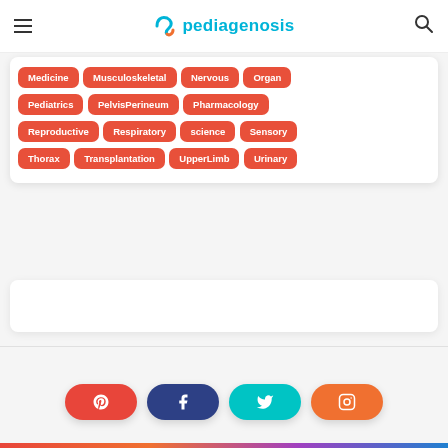pediagenosis
Medicine
Musculoskeletal
Nervous
Organ
Pediatrics
PelvisPerineum
Pharmacology
Reproductive
Respiratory
science
Sensory
Thorax
Transplantation
UpperLimb
Urinary
[Figure (infographic): Social media buttons: Pinterest (red), Facebook (dark blue), Twitter (teal), Instagram (orange)]